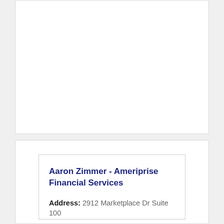Aaron Zimmer - Ameriprise Financial Services
Address: 2912 Marketplace Dr Suite 100